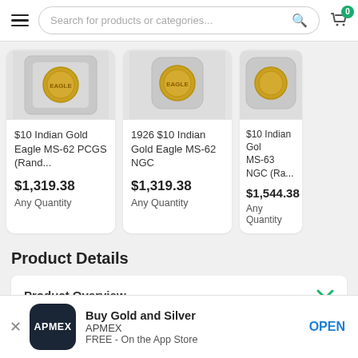[Figure (screenshot): Navigation bar with hamburger menu, search box, and cart icon with badge showing 0]
[Figure (photo): $10 Indian Gold Eagle MS-62 PCGS (Rand...) coin product card showing coin image]
$10 Indian Gold Eagle MS-62 PCGS (Rand...
$1,319.38
Any Quantity
[Figure (photo): 1926 $10 Indian Gold Eagle MS-62 NGC coin product card showing coin image]
1926 $10 Indian Gold Eagle MS-62 NGC
$1,319.38
Any Quantity
[Figure (photo): $10 Indian Gold MS-63 NGC (Ra... coin product card partially visible]
$10 Indian Gold MS-63 NGC (Ra...
$1,544.38
Any Quantity
Product Details
Product Overview
[Figure (screenshot): APMEX app banner: Buy Gold and Silver, APMEX, FREE - On the App Store, OPEN button]